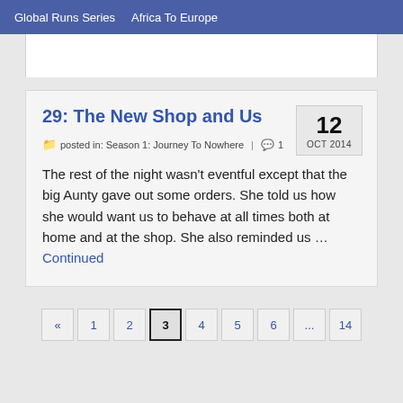Global Runs Series   Africa To Europe
29: The New Shop and Us
12 OCT 2014
posted in: Season 1: Journey To Nowhere  |  1
The rest of the night wasn't eventful except that the big Aunty gave out some orders. She told us how she would want us to behave at all times both at home and at the shop. She also reminded us … Continued
«  1  2  3  4  5  6  ...  14